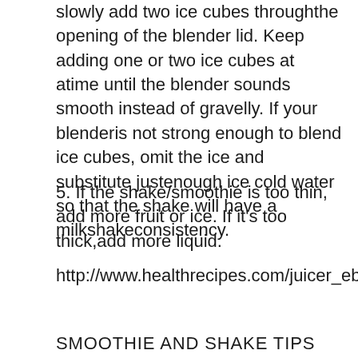slowly add two ice cubes throughthe opening of the blender lid. Keep adding one or two ice cubes at atime until the blender sounds smooth instead of gravelly. If your blenderis not strong enough to blend ice cubes, omit the ice and substitute justenough ice cold water so that the shake will have a milkshakeconsistency.
5. If the shake/smoothie is too thin, add more fruit or ice. If it's too thick,add more liquid.
http://www.healthrecipes.com/juicer_ebook.htm
SMOOTHIE AND SHAKE TIPS